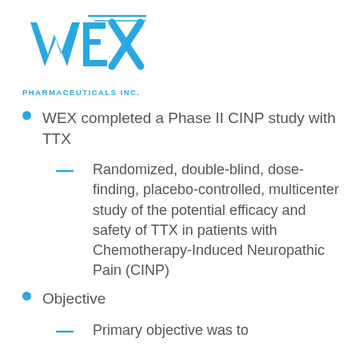[Figure (logo): WEX Pharmaceuticals Inc. logo — stylized W/E/X letters in blue with speed-lines, and 'PHARMACEUTICALS INC.' text below in blue]
WEX completed a Phase II CINP study with TTX
Randomized, double-blind, dose-finding, placebo-controlled, multicenter study of the potential efficacy and safety of TTX in patients with Chemotherapy-Induced Neuropathic Pain (CINP)
Objective
Primary objective was to